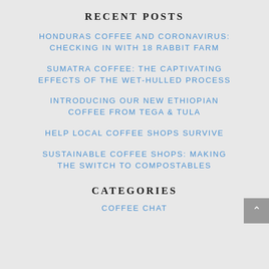RECENT POSTS
HONDURAS COFFEE AND CORONAVIRUS: CHECKING IN WITH 18 RABBIT FARM
SUMATRA COFFEE: THE CAPTIVATING EFFECTS OF THE WET-HULLED PROCESS
INTRODUCING OUR NEW ETHIOPIAN COFFEE FROM TEGA & TULA
HELP LOCAL COFFEE SHOPS SURVIVE
SUSTAINABLE COFFEE SHOPS: MAKING THE SWITCH TO COMPOSTABLES
CATEGORIES
COFFEE CHAT